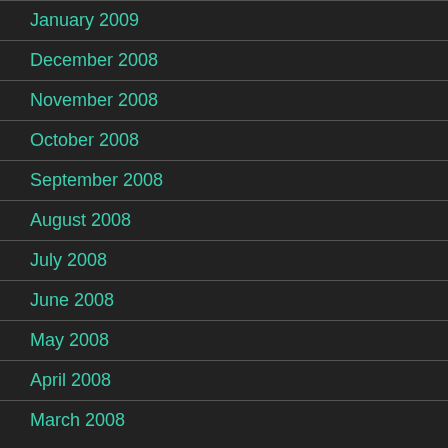January 2009
December 2008
November 2008
October 2008
September 2008
August 2008
July 2008
June 2008
May 2008
April 2008
March 2008